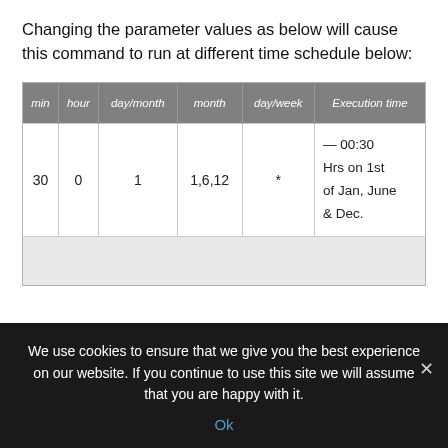Changing the parameter values as below will cause this command to run at different time schedule below:
| min | hour | day/month | month | day/week | Execution time |
| --- | --- | --- | --- | --- | --- |
| 30 | 0 | 1 | 1,6,12 | * | — 00:30 Hrs on 1st of Jan, June & Dec. |
|  |  |  |  |  |  |
We use cookies to ensure that we give you the best experience on our website. If you continue to use this site we will assume that you are happy with it.
Ok